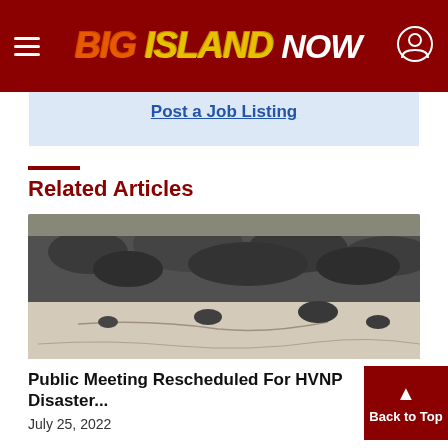Big Island Now
Post a Job Listing
Related Articles
[Figure (photo): Black and white photo of volcanic rock wall and cracked ground/ash at Hawaii Volcanoes National Park]
Public Meeting Rescheduled For HVNP Disaster...
July 25, 2022